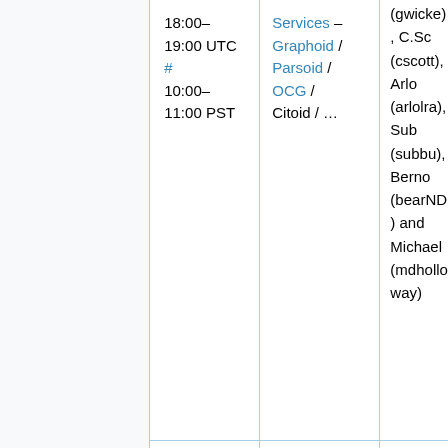|  | 18:00–19:00 UTC # 10:00–11:00 PST | Services – Graphoid / Parsoid / OCG / Citoid / … | (gwicke), C.Scott (cscott), Arlo (arlolra), Subbu (subbu), Bernd (bearND) and Michael (mdholloway) |
|  | 20:00–22:00 UTC # 12:00–14:00 PST | MediaWiki train | Antoine (hasha… |